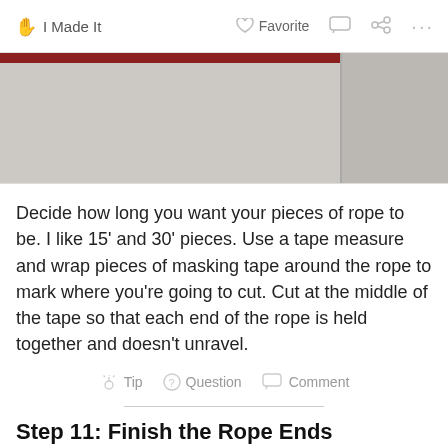✋ I Made It   ♡ Favorite   💬   ⋯
[Figure (photo): Two-panel photo strip showing rope sections with red masking tape markings on a light background. Left panel is larger, right panel is cropped.]
Decide how long you want your pieces of rope to be. I like 15' and 30' pieces. Use a tape measure and wrap pieces of masking tape around the rope to mark where you're going to cut. Cut at the middle of the tape so that each end of the rope is held together and doesn't unravel.
💡 Tip   ❓ Question   💬 Comment
Step 11: Finish the Rope Ends